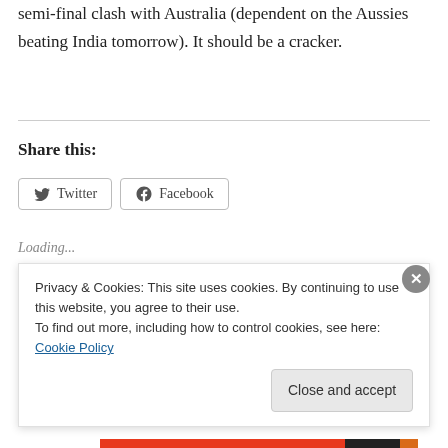semi-final clash with Australia (dependent on the Aussies beating India tomorrow). It should be a cracker.
Share this:
[Figure (other): Twitter and Facebook social share buttons]
Loading...
Related
Privacy & Cookies: This site uses cookies. By continuing to use this website, you agree to their use. To find out more, including how to control cookies, see here: Cookie Policy
Close and accept